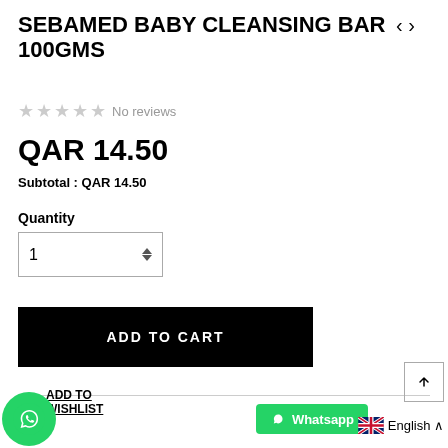SEBAMED BABY CLEANSING BAR 100GMS
No reviews
QAR 14.50
Subtotal : QAR 14.50
Quantity
1
ADD TO CART
ADD TO WISHLIST
Whatsapp
English